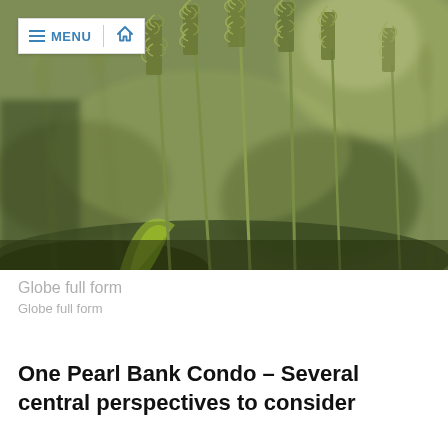[Figure (photo): Close-up photograph of green wheat ears/stalks in a field, blurred bokeh background, warm sunlight, natural outdoor scene.]
≡ MENU  🏠
Globe full form
Globe full form
One Pearl Bank Condo – Several central perspectives to consider